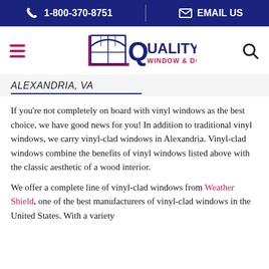1-800-370-8751 | EMAIL US
[Figure (logo): Quality Window & Door logo with stylized Q and window graphic]
ALEXANDRIA, VA
If you're not completely on board with vinyl windows as the best choice, we have good news for you! In addition to traditional vinyl windows, we carry vinyl-clad windows in Alexandria. Vinyl-clad windows combine the benefits of vinyl windows listed above with the classic aesthetic of a wood interior.
We offer a complete line of vinyl-clad windows from Weather Shield, one of the best manufacturers of vinyl-clad windows in the United States. With a variety